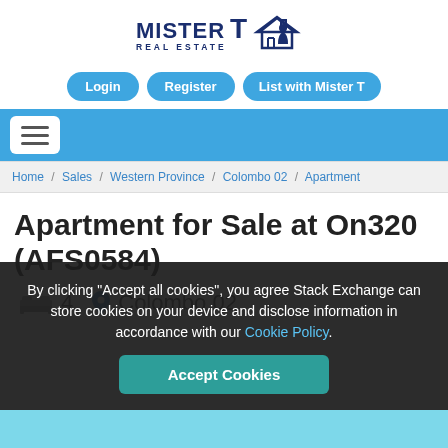[Figure (logo): Mister T Real Estate logo with house icon and person silhouette]
Login   Register   List with Mister T
[Figure (other): Hamburger menu navigation bar]
Home / Sales / Western Province / Colombo 02 / Apartment
Apartment for Sale at On320 (AFS0584)
4   Colombo 02
By clicking "Accept all cookies", you agree Stack Exchange can store cookies on your device and disclose information in accordance with our Cookie Policy.
Accept Cookies